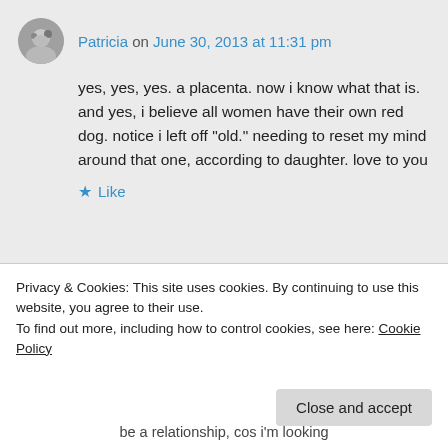Patricia on June 30, 2013 at 11:31 pm
yes, yes, yes. a placenta. now i know what that is. and yes, i believe all women have their own red dog. notice i left off “old.” needing to reset my mind around that one, according to daughter. love to you
Like
Reply
Privacy & Cookies: This site uses cookies. By continuing to use this website, you agree to their use.
To find out more, including how to control cookies, see here: Cookie Policy
Close and accept
be a relationship, cos i’m looking